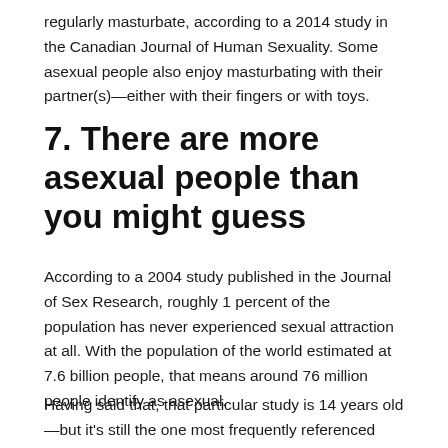regularly masturbate, according to a 2014 study in the Canadian Journal of Human Sexuality. Some asexual people also enjoy masturbating with their partner(s)—either with their fingers or with toys.
7. There are more asexual people than you might guess
According to a 2004 study published in the Journal of Sex Research, roughly 1 percent of the population has never experienced sexual attraction at all. With the population of the world estimated at 7.6 billion people, that means around 76 million people identify as asexual.
Having said that, that particular study is 14 years old—but it's still the one most frequently referenced when it comes to